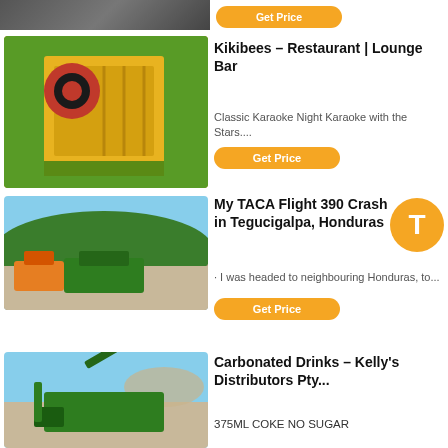[Figure (screenshot): Partial top listing image - industrial machine, partially visible]
Get Price
[Figure (photo): Yellow and red industrial jaw crusher machine]
Kikibees – Restaurant | Lounge Bar
Classic Karaoke Night Karaoke with the Stars....
Get Price
[Figure (photo): Construction site with green machinery and excavator on gravel]
My TACA Flight 390 Crash in Tegucigalpa, Honduras
· I was headed to neighbouring Honduras, to...
Get Price
[Figure (photo): Green drilling or mining machine operating outdoors]
Carbonated Drinks – Kelly's Distributors Pty...
375ML COKE NO SUGAR